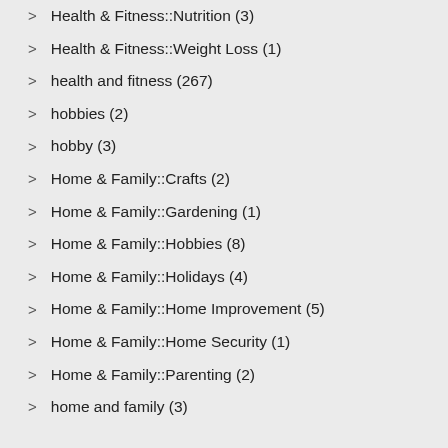Health & Fitness::Nutrition (3)
Health & Fitness::Weight Loss (1)
health and fitness (267)
hobbies (2)
hobby (3)
Home & Family::Crafts (2)
Home & Family::Gardening (1)
Home & Family::Hobbies (8)
Home & Family::Holidays (4)
Home & Family::Home Improvement (5)
Home & Family::Home Security (1)
Home & Family::Parenting (2)
home and family (3)